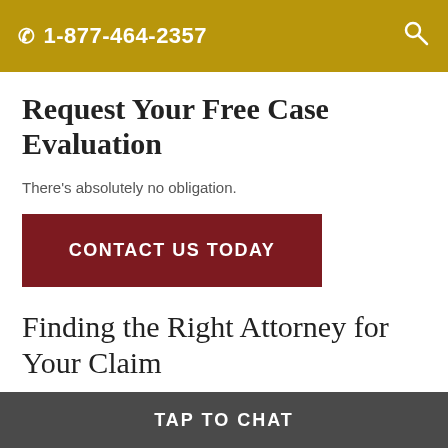1-877-464-2357
Request Your Free Case Evaluation
There's absolutely no obligation.
CONTACT US TODAY
Finding the Right Attorney for Your Claim
TAP TO CHAT